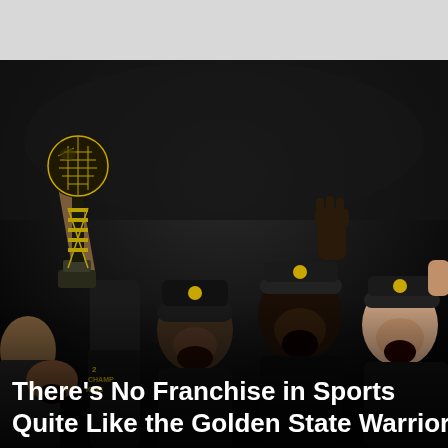[Figure (photo): Golden State Warriors players celebrating an NBA Championship, holding the Larry O'Brien trophy aloft in a dark arena, players laughing and pumping fists, wearing championship hats and shirts. Text overlay reads: There's No Franchise in Sports Quite Like the Golden State Warriors.]
There's No Franchise in Sports Quite Like the Golden State Warriors